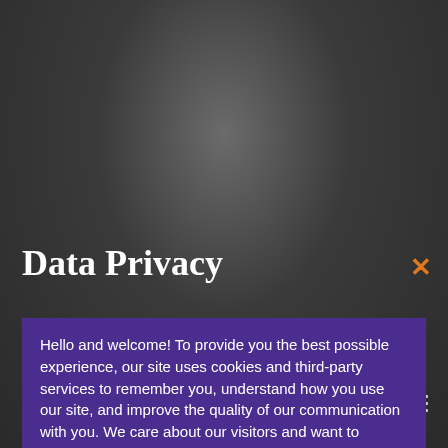[Figure (photo): Dark blurred background photo of a person, used as the website background behind a data privacy modal dialog]
Data Privacy
Hello and welcome! To provide you the best possible experience, our site uses cookies and third-party services to remember you, understand how you use our site, and improve the quality of our communication with you. We care about our visitors and want to ensure you are informed on how we use your data. Click here to learn more. By continuing to use the University of Western States website, you agree to how we use your data to improve service and user-experience.
Program & Concentration: Doctor of Chiropractic &